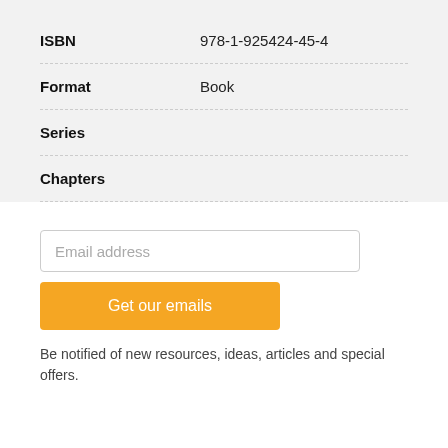| Field | Value |
| --- | --- |
| ISBN | 978-1-925424-45-4 |
| Format | Book |
| Series |  |
| Chapters |  |
Email address
Get our emails
Be notified of new resources, ideas, articles and special offers.